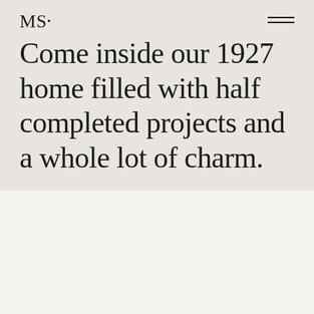MS•
Come inside our 1927 home filled with half completed projects and a whole lot of charm.